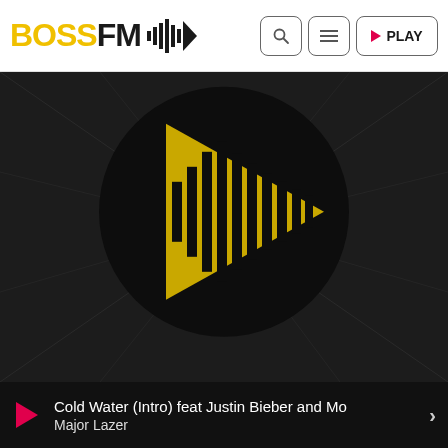[Figure (logo): BOSS FM logo with soundwave play button icon]
[Figure (screenshot): BOSS FM radio app interface with search, menu, and play buttons in header]
[Figure (logo): Large BOSS FM circular logo with yellow play button and soundwave bars on dark background]
Cold Water (Intro) feat Justin Bieber and Mo
Major Lazer